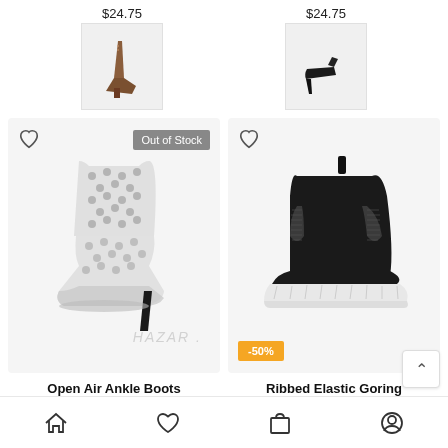$24.75
[Figure (photo): Small thumbnail of a brown cowboy/western ankle boot on white background]
$24.75
[Figure (photo): Small thumbnail of a black stiletto pump on white background]
[Figure (photo): Silver/metallic open-air mesh ankle boot with stiletto heel. 'Out of Stock' badge. Watermark text: HAZAR]
[Figure (photo): Black leather Chelsea boot with thick white platform sole. -50% discount badge in orange.]
Open Air Ankle Boots
$82.50
Ribbed Elastic Goring Boots
Home | Favorites | Cart | Profile navigation icons